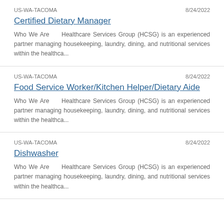US-WA-TACOMA | 8/24/2022
Certified Dietary Manager
Who We Are    Healthcare Services Group (HCSG) is an experienced partner managing housekeeping, laundry, dining, and nutritional services within the healthca...
US-WA-TACOMA | 8/24/2022
Food Service Worker/Kitchen Helper/Dietary Aide
Who We Are    Healthcare Services Group (HCSG) is an experienced partner managing housekeeping, laundry, dining, and nutritional services within the healthca...
US-WA-TACOMA | 8/24/2022
Dishwasher
Who We Are    Healthcare Services Group (HCSG) is an experienced partner managing housekeeping, laundry, dining, and nutritional services within the healthca...